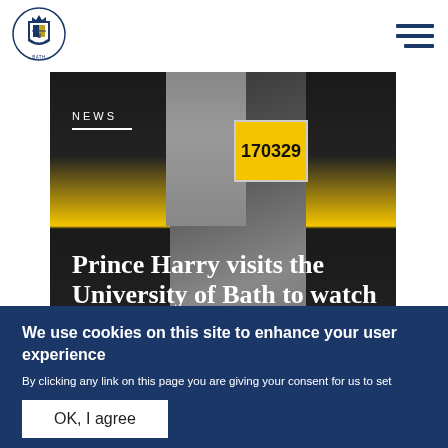University of Bath - logo and navigation
[Figure (photo): Photo of athletes/runners wearing black and yellow jerseys with race bibs numbered 170329, viewed from behind, with a person in a grey jacket visible among them]
Prince Harry visits the University of Bath to watch trials for
We use cookies on this site to enhance your user experience
By clicking any link on this page you are giving your consent for us to set cookies. No, give me more info
OK, I agree